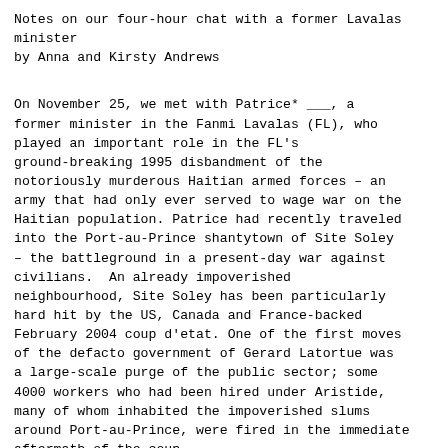Notes on our four-hour chat with a former Lavalas minister
by Anna and Kirsty Andrews
On November 25, we met with Patrice* ___, a former minister in the Fanmi Lavalas (FL), who played an important role in the FL's ground-breaking 1995 disbandment of the notoriously murderous Haitian armed forces – an army that had only ever served to wage war on the Haitian population. Patrice had recently traveled into the Port-au-Prince shantytown of Site Soley – the battleground in a present-day war against civilians.  An already impoverished neighbourhood, Site Soley has been particularly hard hit by the US, Canada and France-backed February 2004 coup d'etat. One of the first moves of the defacto government of Gerard Latortue was a large-scale purge of the public sector; some 4000 workers who had been hired under Aristide, many of whom inhabited the impoverished slums around Port-au-Prince, were fired in the immediate aftermath of the coup.
Site Soley is a longstanding stronghold for FL support, and its residents have played an important role in organizing demonstrations against the coup government. Meanwhile, the residents' acute impoverishment, particularly